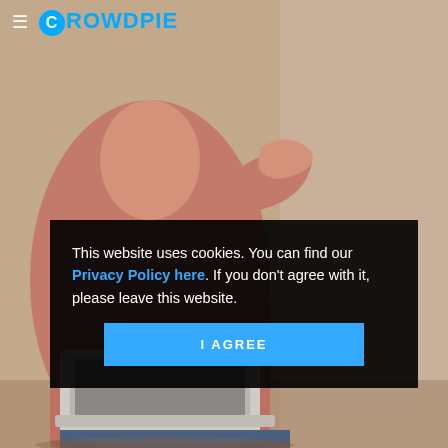[Figure (photo): Background photo of a woman in a pink/salmon shirt sitting with a laptop computer, gesturing with her hand. The background is a warm beige/tan wall. The lower portion is overlaid with a dark semi-transparent cookie consent banner.]
≡ CROWDPIE
This website uses cookies. You can find our Privacy Policy here. If you don't agree with it, please leave this website.
I AGREE